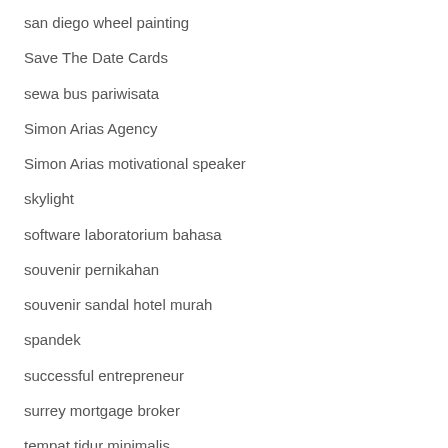san diego wheel painting
Save The Date Cards
sewa bus pariwisata
Simon Arias Agency
Simon Arias motivational speaker
skylight
software laboratorium bahasa
souvenir pernikahan
souvenir sandal hotel murah
spandek
successful entrepreneur
surrey mortgage broker
tempat tidur minimalis